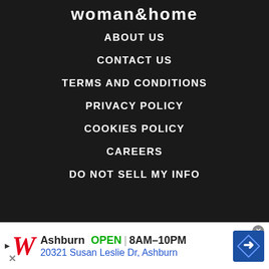woman&home
ABOUT US
CONTACT US
TERMS AND CONDITIONS
PRIVACY POLICY
COOKIES POLICY
CAREERS
DO NOT SELL MY INFO
Woman & Home is part of Future plc, an international media group and leading digital publisher. Visit our corporate site.
© Future Publishing Limited Quay House, The Ambury, Bath BA1 1UA. All rights
[Figure (advertisement): Walgreens advertisement banner showing Ashburn store OPEN 8AM-10PM, address 20321 Susan Leslie Dr, Ashburn]